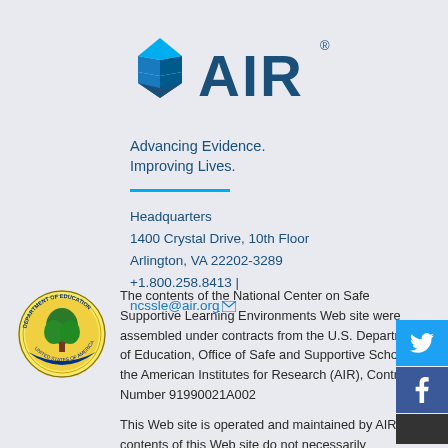[Figure (logo): AIR (American Institutes for Research) logo with diamond/chevron icon in blue and teal colors]
Advancing Evidence.
Improving Lives.
Headquarters
1400 Crystal Drive, 10th Floor
Arlington, VA 22202-3289
+1.800.258.8413 |
ncssle@air.org
[Figure (logo): U.S. Department of Education official seal]
The contents of the National Center on Safe Supportive Learning Environments Web site were assembled under contracts from the U.S. Department of Education, Office of Safe and Supportive Schools to the American Institutes for Research (AIR), Contract Number 91990021A002
This Web site is operated and maintained by AIR. The contents of this Web site do not necessarily